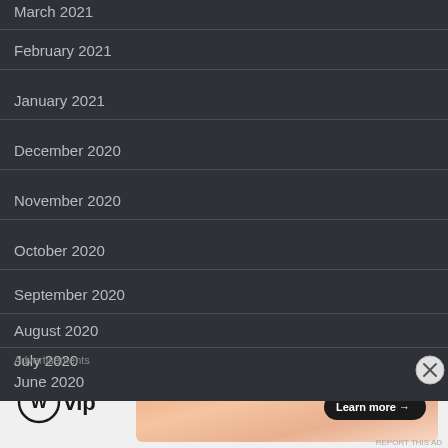March 2021
February 2021
January 2021
December 2020
November 2020
October 2020
September 2020
August 2020
July 2020
June 2020
Advertisements
[Figure (logo): WordPress VIP logo — circular W mark with 'vip' text]
[Figure (illustration): Advertisement banner with peach/salmon gradient and a 'Learn more →' button]